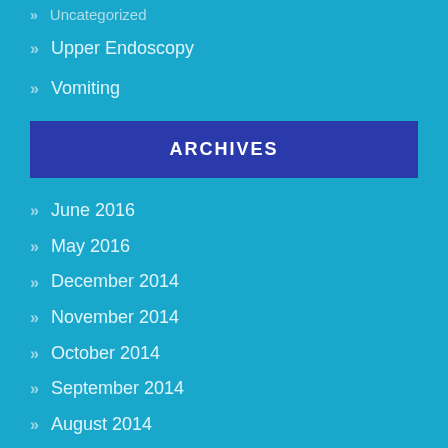Upper Endoscopy
Vomiting
ARCHIVES
June 2016
May 2016
December 2014
November 2014
October 2014
September 2014
August 2014
July 2014
June 2014